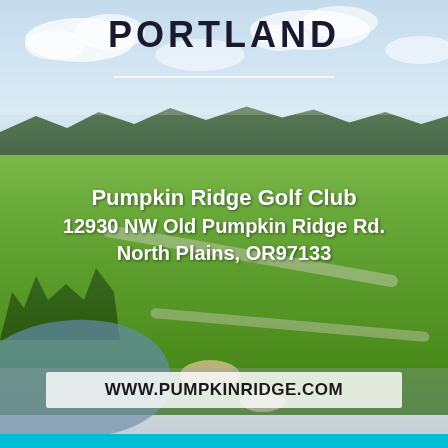PORTLAND
[Figure (photo): Aerial view of Pumpkin Ridge Golf Club showing lush green fairways, a pond on the left, sand bunkers, cart paths, and a forested hillside in the background under a partly cloudy sky.]
Pumpkin Ridge Golf Club
12930 NW Old Pumpkin Ridge Rd.
North Plains, OR97133
WWW.PUMPKINRIDGE.COM